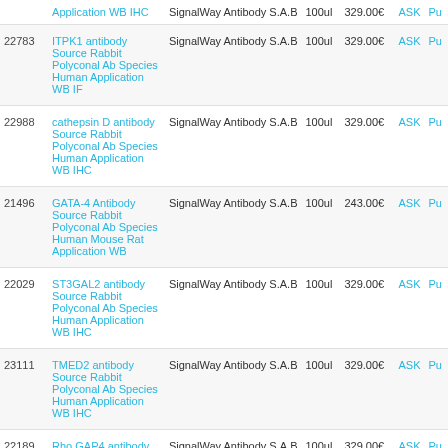| ID | Product | Supplier | Qty | Price |  |  |
| --- | --- | --- | --- | --- | --- | --- |
|  | Application WB IHC | SignalWay Antibody S.A.B | 100ul | 329.00€ | ASK | Pu |
| 22783 | ITPK1 antibody Source Rabbit Polyconal Ab Species Human Application WB IF | SignalWay Antibody S.A.B | 100ul | 329.00€ | ASK | Pu |
| 22988 | cathepsin D antibody Source Rabbit Polyconal Ab Species Human Application WB IHC | SignalWay Antibody S.A.B | 100ul | 329.00€ | ASK | Pu |
| 21496 | GATA-4 Antibody Source Rabbit Polyconal Ab Species Human Mouse Rat Application WB | SignalWay Antibody S.A.B | 100ul | 243.00€ | ASK | Pu |
| 22029 | ST3GAL2 antibody Source Rabbit Polyconal Ab Species Human Application WB IHC | SignalWay Antibody S.A.B | 100ul | 329.00€ | ASK | Pu |
| 23111 | TMED2 antibody Source Rabbit Polyconal Ab Species Human Application WB IHC | SignalWay Antibody S.A.B | 100ul | 329.00€ | ASK | Pu |
| 22189 | Rho GAP4 antibody Source Rabbit Polyconal Ab Species Human Application WB IHC/IF | SignalWay Antibody S.A.B | 100ul | 329.00€ | ASK | Pu |